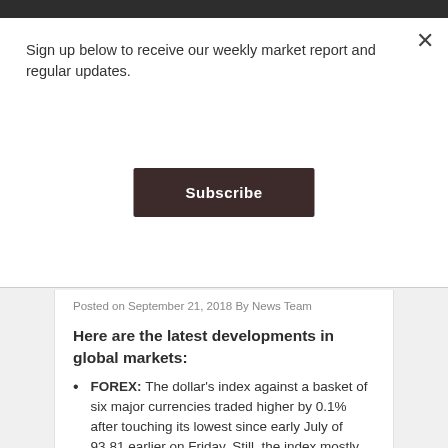Sign up below to receive our weekly market report and regular updates.
Subscribe
Posted on September 21, 2018 By News Team
Here are the latest developments in global markets:
FOREX: The dollar's index against a basket of six major currencies traded higher by 0.1% after touching its lowest since early July of 93.81 earlier on Friday. Still, the index mostly consolidated yesterday's considerable losses.